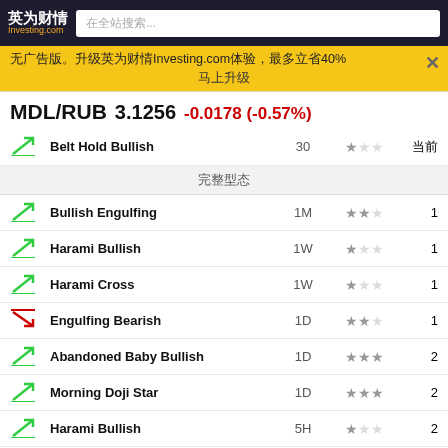英为财情 Investing.com — 在全站搜索...
无广告版。升级英为财情Investing.com体验，最多立省40% 马上升级
MDL/RUB  3.1256  -0.0178 (-0.57%)
| Icon | Pattern | Period | Stars | Count |
| --- | --- | --- | --- | --- |
| bullish | Belt Hold Bullish | 30 | ★☆☆ | 当前 |
|  |  |  | 完整型态 |  |
| bullish | Bullish Engulfing | 1M | ★★☆ | 1 |
| bullish | Harami Bullish | 1W | ★☆☆ | 1 |
| bullish | Harami Cross | 1W | ★☆☆ | 1 |
| bearish | Engulfing Bearish | 1D | ★★☆ | 1 |
| bullish | Abandoned Baby Bullish | 1D | ★★★ | 2 |
| bullish | Morning Doji Star | 1D | ★★★ | 2 |
| bullish | Harami Bullish | 5H | ★☆☆ | 2 |
| bullish | Harami Bullish | 1H | ★☆☆ | 2 |
| bullish | Harami Cross | 1H | ★☆☆ | 2 |
| bearish | Three Black Crows | 1M | ★★★ | 3 |
| bullish | Harami Bullish | 30 | ★☆☆ | 4 |
| bullish | Harami Cross | 30 | ★☆☆ | 4 |